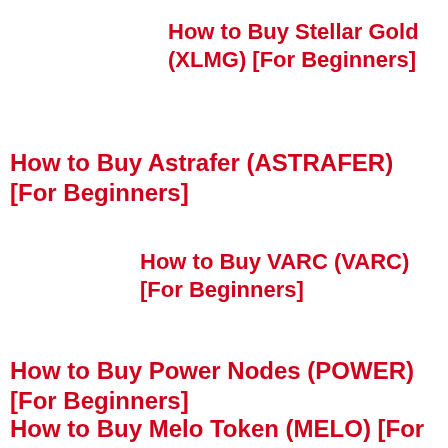How to Buy Stellar Gold (XLMG) [For Beginners]
How to Buy Astrafer (ASTRAFER) [For Beginners]
How to Buy VARC (VARC) [For Beginners]
How to Buy Power Nodes (POWER) [For Beginners]
How to Buy Melo Token (MELO) [For Beginners]